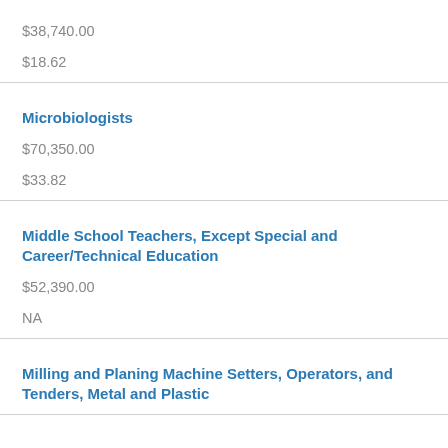| $38,740.00
$18.62 |
| Microbiologists
$70,350.00
$33.82 |
| Middle School Teachers, Except Special and Career/Technical Education
$52,390.00
NA |
| Milling and Planing Machine Setters, Operators, and Tenders, Metal and Plastic |